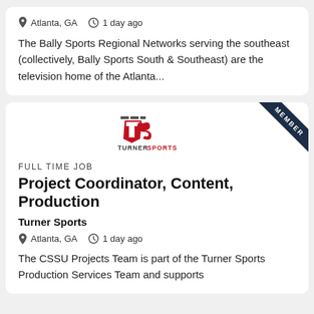Atlanta, GA   1 day ago
The Bally Sports Regional Networks serving the southeast (collectively, Bally Sports South & Southeast) are the television home of the Atlanta...
[Figure (logo): Turner Sports logo - stylized TS letters in red and dark gray with 'TURNER SPORTS' text below]
FULL TIME JOB
Project Coordinator, Content, Production
Turner Sports
Atlanta, GA   1 day ago
The CSSU Projects Team is part of the Turner Sports Production Services Team and supports